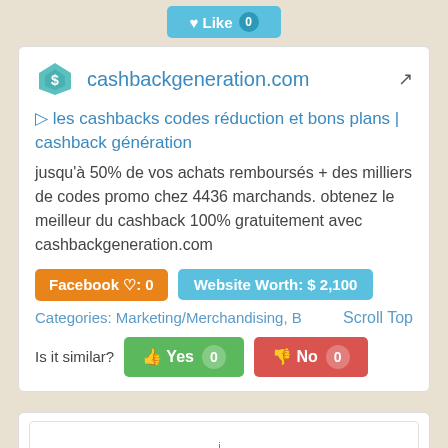[Figure (screenshot): Like button with count badge showing 0, teal/blue color]
cashbackgeneration.com (with logo and external link icon)
▷ les cashbacks codes réduction et bons plans | cashback génération
jusqu'à 50% de vos achats remboursés + des milliers de codes promo chez 4436 marchands. obtenez le meilleur du cashback 100% gratuitement avec cashbackgeneration.com
Facebook ♡: 0   Website Worth: $ 2,100
Categories: Marketing/Merchandising, B   Scroll Top
Is it similar?   👍 Yes 0   👎 No 0
[Figure (screenshot): Small card with a logo and text 'How you can help']